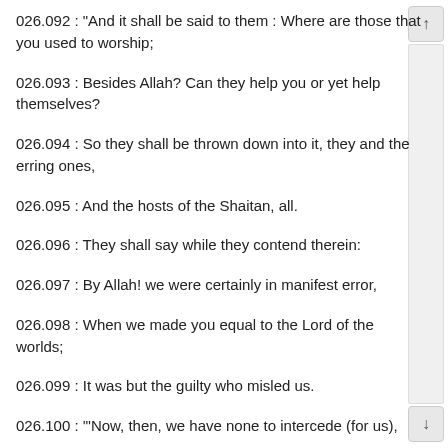026.092 : "And it shall be said to them : Where are those that you used to worship;
026.093  : Besides Allah? Can they help you or yet help themselves?
026.094  : So they shall be thrown down into it, they and the erring ones,
026.095  : And the hosts of the Shaitan, all.
026.096  : They shall say while they contend therein:
026.097  : By Allah! we were certainly in manifest error,
026.098  : When we made you equal to the Lord of the worlds;
026.099  : It was but the guilty who misled us.
026.100  : '"Now, then, we have none to intercede (for us),
026.101  : '"Nor a single friend to feel (for us).
026.102  : '"Now if we only had a chance of return we shall truly be of